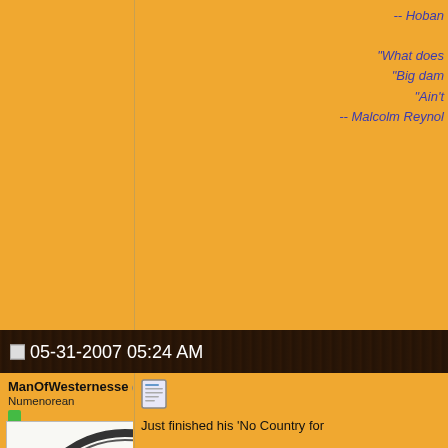-- Hoban
"What does
"Big dam
"Ain't
-- Malcolm Reynol
[Figure (screenshot): Forum timestamp bar showing '05-31-2007 05:24 AM' with a wood-textured background]
ManOfWesternesse
Numenorean
[Figure (illustration): Celtic triskelion / spiral knot medallion avatar image in black and white]
| Join Date: | May 2007 |
| Location: | Sligo. Ireland. |
| Posts: | 2,632 |
| Country : | Country Flag |
| Gender : |  |
[Figure (illustration): Forum post icon (document/page icon)]
Just finished his 'No Country for
[Figure (illustration): Banner image with blue/grey tones, text reading 'OUT OF THE G', 'IN THIS PLACE I WILL ABIDE, AN', 'SNOWMARILYA VA', 'JENN AMBA']